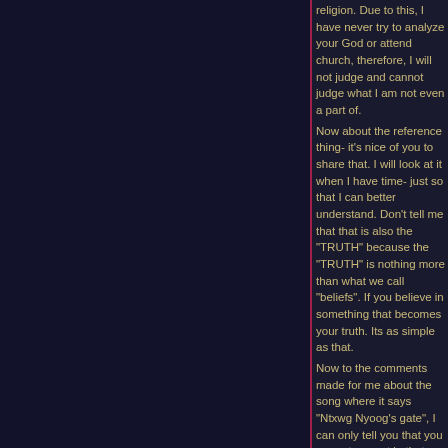religion. Due to this, I have never try to analyze your God or attend church, therefore, I will not judge and cannot judge what I am not even a part of.
Now about the reference thing- it's nice of you to share that. I will look at it when I have time- just so that I can better understand. Don't tell me that that is also the "TRUTH" because the "TRUTH" is nothing more than what we call "beliefs". If you believe in something that becomes your truth. Its as simple as that.
Now to the comments made for me about the song where it says "Ntxwg Nyoog's gate", I can only tell you that you are not correct in that matter. I ask my father and he said that when he talks about Ntxwg Nyoog at funerals, he is not complementing Ntxwg Nyoog nor is he sending the dead to go meet him. The part where the elders at funerals mention about "Ntxwg Nyoog" is when they travel to "Ntxwg Nyoog's world" to speak to him and to scold him becuase of his unthoughtful and evil spells that he cast are the ones that cause poeple's loved ones to died. They are not very pleased and they are angry at him. Your description is correct but your interpretation is not. Go to more funerals and ask an elder anything you don't understand and I am sure that they will not be saying anything nice about the devil.
Sorry- I am in a rush to conduct a Home Visit, therefore, some may not make much sense-i do apologise.
5/5/05
Someone stated that the bible is written by some guy a long time ago, to correct your ignorance of the bible. You should really do some research before make such a claim like that. Here is something you should know:
1. The bible contains 66 books written by over 40 different people from all walks of life: shepherds, farmers, tent-makers, physicians, fishermen, priests, philosophers and kings. Despite these differences in occupation and the timespan (over 1600 years) it took to write it, the Bible is an extremely cohesive document. It was written in Hebrew, Aramaic, and Koine Greek, so these men who wrote it